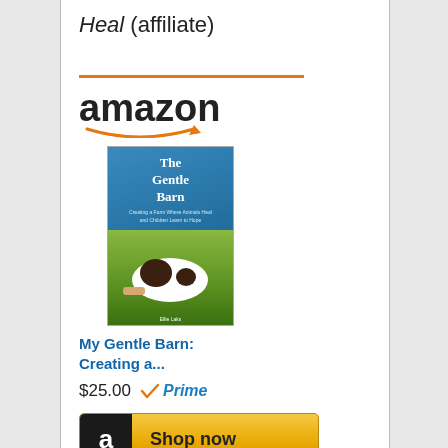Heal (affiliate)
[Figure (other): Amazon affiliate widget showing 'My Gentle Barn: Creating a...' book priced at $25.00 with Prime badge and Shop now button, featuring the Amazon logo and book cover image]
[Figure (other): Small image placeholder at the bottom of the page]